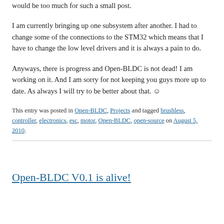would be too much for such a small post.
I am currently bringing up one subsystem after another. I had to change some of the connections to the STM32 which means that I have to change the low level drivers and it is always a pain to do.
Anyways, there is progress and Open-BLDC is not dead! I am working on it. And I am sorry for not keeping you guys more up to date. As always I will try to be better about that. ☺
This entry was posted in Open-BLDC, Projects and tagged brushless, controller, electronics, esc, motor, Open-BLDC, open-source on August 5, 2010.
Open-BLDC V0.1 is alive!